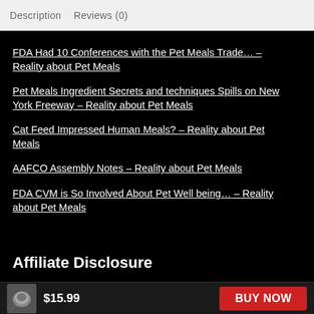Description   Reviews (0)
FDA Had 10 Conferences with the Pet Meals Trade… – Reality about Pet Meals
Pet Meals Ingredient Secrets and techniques Spills on New York Freeway – Reality about Pet Meals
Cat Feed Impressed Human Meals? – Reality about Pet Meals
AAFCO Assembly Notes – Reality about Pet Meals
FDA CVM is So Involved About Pet Well being… – Reality about Pet Meals
Affiliate Disclosure
$15.99  BUY NOW